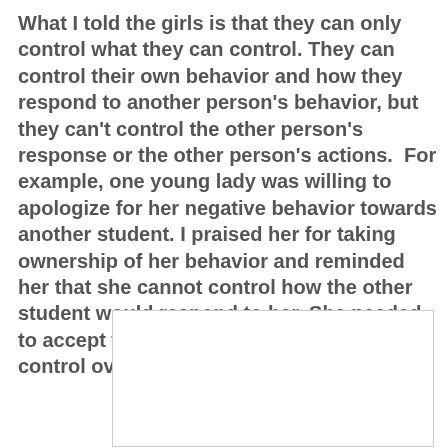What I told the girls is that they can only control what they can control. They can control their own behavior and how they respond to another person's behavior, but they can't control the other person's response or the other person's actions.  For example, one young lady was willing to apologize for her negative behavior towards another student. I praised her for taking ownership of her behavior and reminded her that she cannot control how the other student would respond to her. She needed to accept that the only part she had any control over was her apology.
[Figure (other): A blank white rectangular box, likely a placeholder for an image or embedded content]